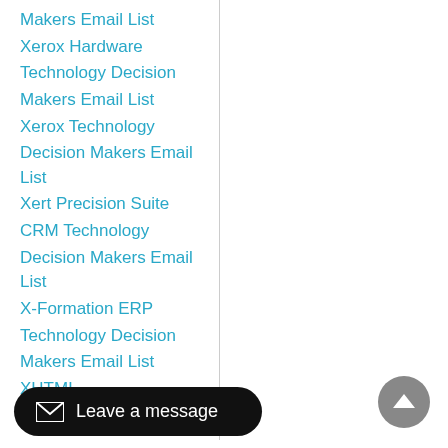Makers Email List
Xerox Hardware
Technology Decision
Makers Email List
Xerox Technology
Decision Makers Email List
Xert Precision Suite
CRM Technology
Decision Makers Email List
X-Formation ERP
Technology Decision
Makers Email List
XHTML
Leave a message